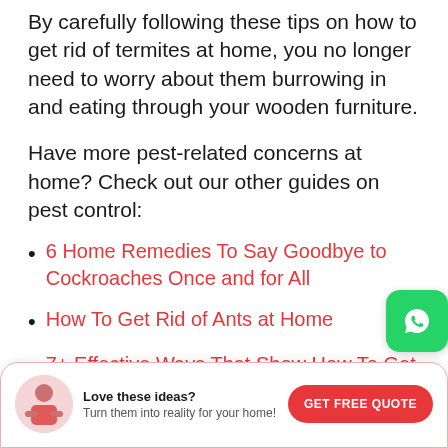By carefully following these tips on how to get rid of termites at home, you no longer need to worry about them burrowing in and eating through your wooden furniture.
Have more pest-related concerns at home? Check out our other guides on pest control:
6 Home Remedies To Say Goodbye to Cockroaches Once and for All
How To Get Rid of Ants at Home
7+ Effective Ways That Show How To Get Rid of Lizards
Are Bugs Wreaking Havoc in Your Home?
[Figure (logo): WhatsApp green icon button]
Love these ideas? Turn them into reality for your home! GET FREE QUOTE